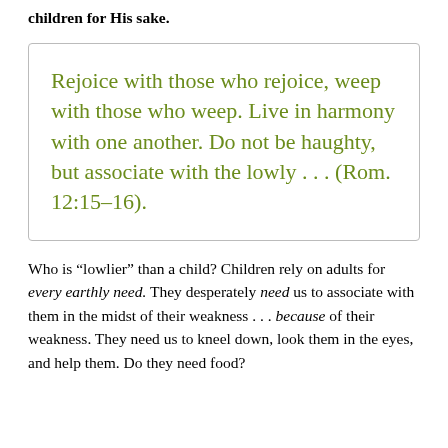children for His sake.
Rejoice with those who rejoice, weep with those who weep. Live in harmony with one another. Do not be haughty, but associate with the lowly . . . (Rom. 12:15–16).
Who is “lowlier” than a child? Children rely on adults for every earthly need. They desperately need us to associate with them in the midst of their weakness . . . because of their weakness. They need us to kneel down, look them in the eyes, and help them. Do they need food?